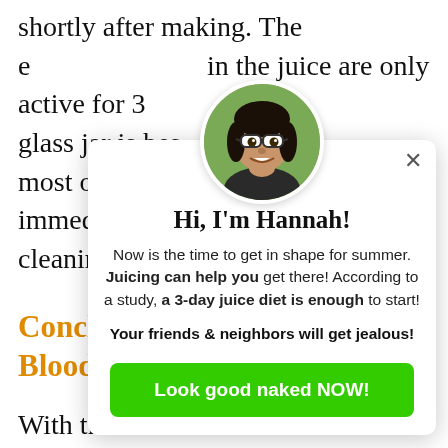shortly after making. The e[nzymes] in the juice are only active for 3[...] \ glass jar is bes[t] most of the air [...] immediately be[...] cleaning.
Conclusion [... Blood Pressure ...]
With the rise of [...] everyone shou[ld] the steps to prev[ent ...] pressure leads to serious consequences [...]
[Figure (infographic): A popup/modal overlay with a circular portrait photo of a woman named Hannah wearing glasses, a close (X) button, heading 'Hi, I'm Hannah!', descriptive text about juicing and a 3-day juice diet, bold call-to-action text 'Your friends & neighbors will get jealous!', and a green button labeled 'Look good naked NOW!']